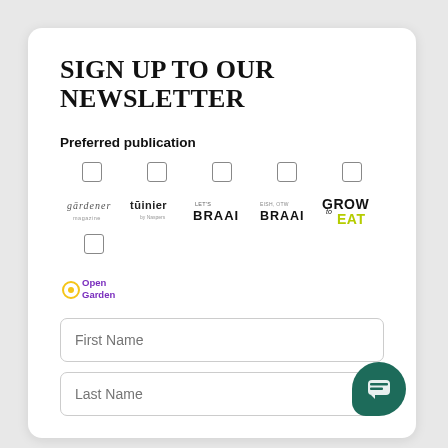SIGN UP TO OUR NEWSLETTER
Preferred publication
[Figure (logo): Five publication logos with checkboxes: gardener, tuinier, Let's BRAAI, BRAAI, GROW to EAT]
[Figure (logo): Open Garden logo with checkbox]
First Name
Last Name